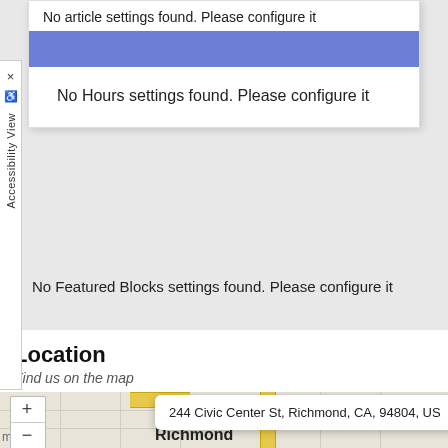No article settings found. Please configure it
No Hours settings found. Please configure it
No Featured Blocks settings found. Please configure it
Location
Find us on the map
[Figure (map): Map showing 244 Civic Center St, Richmond, CA, 94804, US with zoom controls and address popup]
244 Civic Center St, Richmond, CA, 94804, US
Richmond